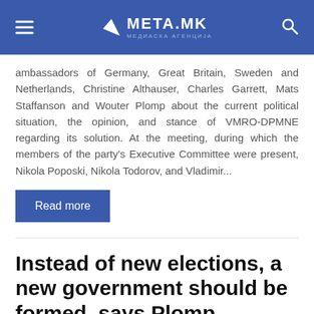META.MK
ambassadors of Germany, Great Britain, Sweden and Netherlands, Christine Althauser, Charles Garrett, Mats Staffanson and Wouter Plomp about the current political situation, the opinion, and stance of VMRO-DPMNE regarding its solution. At the meeting, during which the members of the party's Executive Committee were present, Nikola Poposki, Nikola Todorov, and Vladimir...
Read more
Instead of new elections, a new government should be formed, says Plomp, Staffansson and Jazbec
25 April 2017